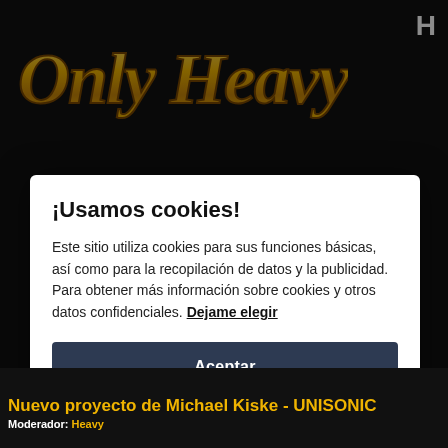[Figure (screenshot): Dark heavy metal website background with golden stylized 'Only Heavy Metal' logo text at top, dark background with site navigation elements]
¡Usamos cookies!
Este sitio utiliza cookies para sus funciones básicas, así como para la recopilación de datos y la publicidad. Para obtener más información sobre cookies y otros datos confidenciales. Dejame elegir
Aceptar
Close
Nuevo proyecto de Michael Kiske - UNISONIC
Moderador: Heavy